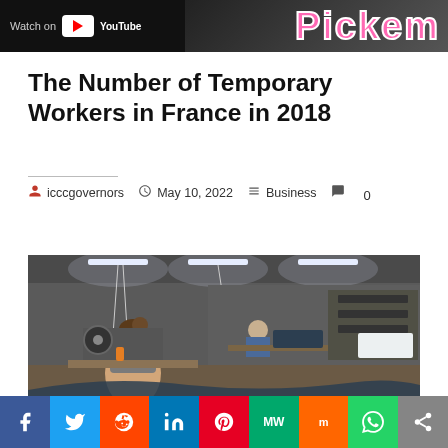[Figure (screenshot): Banner with YouTube Watch On logo on dark background and pink Pickem text on right]
The Number of Temporary Workers in France in 2018
icccgovernors   May 10, 2022   Business   0
[Figure (photo): Factory floor with workers sewing at machines under fluorescent lights]
Social share bar: Facebook, Twitter, Reddit, LinkedIn, Pinterest, MeWe, Mix, WhatsApp, Share